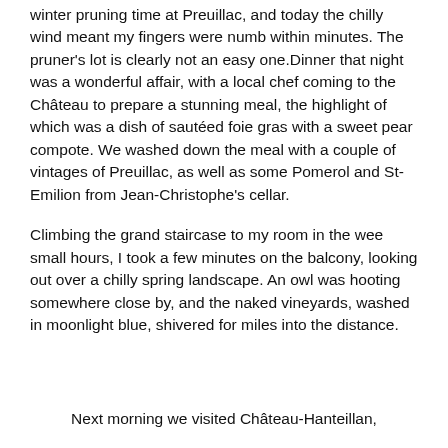winter pruning time at Preuillac, and today the chilly wind meant my fingers were numb within minutes. The pruner's lot is clearly not an easy one.Dinner that night was a wonderful affair, with a local chef coming to the Château to prepare a stunning meal, the highlight of which was a dish of sautéed foie gras with a sweet pear compote. We washed down the meal with a couple of vintages of Preuillac, as well as some Pomerol and St-Emilion from Jean-Christophe's cellar.
Climbing the grand staircase to my room in the wee small hours, I took a few minutes on the balcony, looking out over a chilly spring landscape. An owl was hooting somewhere close by, and the naked vineyards, washed in moonlight blue, shivered for miles into the distance.
Next morning we visited Château-Hanteillan,